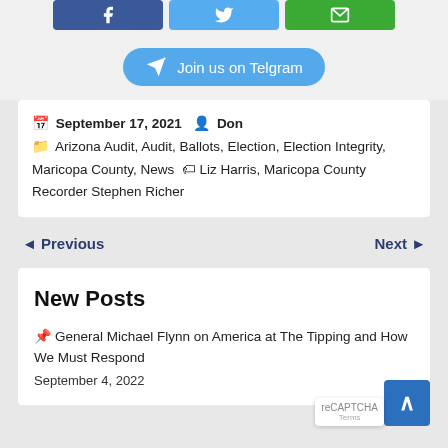[Figure (other): Social share buttons: Facebook (blue), Twitter (blue), Email (green)]
[Figure (other): Telegram join button in light blue with send icon and text 'Join us on Telgram']
September 17, 2021  Don  Arizona Audit, Audit, Ballots, Election, Election Integrity, Maricopa County, News  Liz Harris, Maricopa County Recorder Stephen Richer
◄ Previous    Next ►
New Posts
General Michael Flynn on America at The Tipping and How We Must Respond
September 4, 2022